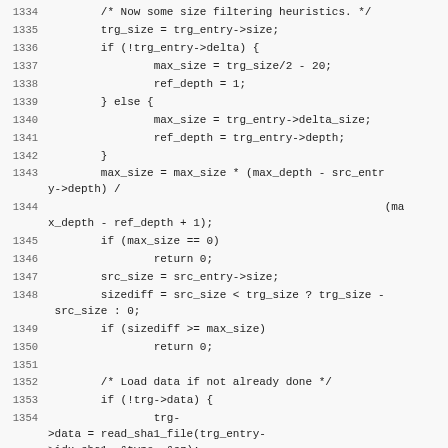Source code listing lines 1334–1358+, showing size filtering heuristics and data loading logic in C